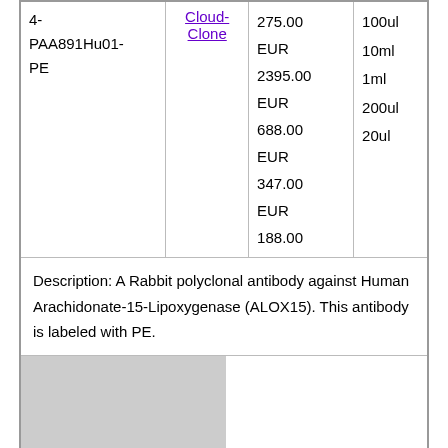| ID | Vendor | Price | Size |
| --- | --- | --- | --- |
| 4-PAA891Hu01-PE | Cloud-Clone | 275.00 EUR
2395.00 EUR
688.00 EUR
347.00 EUR
188.00 EUR | 100ul
10ml
1ml
200ul
20ul |
Description: A Rabbit polyclonal antibody against Human Arachidonate-15-Lipoxygenase (ALOX15). This antibody is labeled with PE.
[Figure (photo): Partial image of a chart or blot for Human Arachidonate-15-Lipoxygenase (ALOX15) antibody, partially visible at bottom of page]